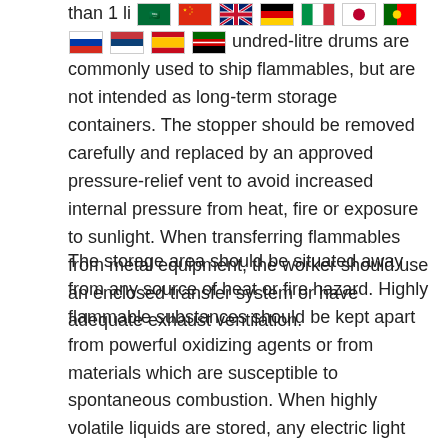than 1 li[flags]undred-litre drums are commonly used to ship flammables, but are not intended as long-term storage containers. The stopper should be removed carefully and replaced by an approved pressure-relief vent to avoid increased internal pressure from heat, fire or exposure to sunlight. When transferring flammables from metal equipment, the worker should use an enclosed transfer system or have adequate exhaust ventilation.
The storage area should be situated away from any source of heat or fire hazard. Highly flammable substances should be kept apart from powerful oxidizing agents or from materials which are susceptible to spontaneous combustion. When highly volatile liquids are stored, any electric light fittings or apparatus should be of certified flameproof construction, and no open flames should be permitted in or near the storage place. Fire extinguishers and absorbent inert materials, such as dry sand and earth, should be available for emergency situations.